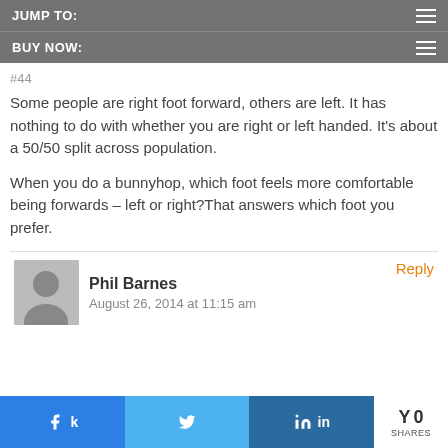JUMP TO:
BUY NOW:
#44
Some people are right foot forward, others are left. It has nothing to do with whether you are right or left handed. It's about a 50/50 split across population.

When you do a bunnyhop, which foot feels more comfortable being forwards – left or right?That answers which foot you prefer.
Phil Barnes
August 26, 2014 at 11:15 am
Reply